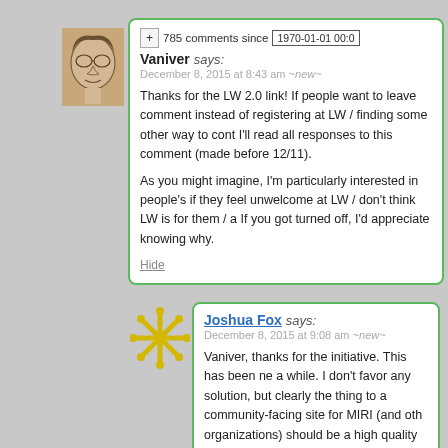[Figure (photo): User avatar sketch illustration of a face]
Vaniver says:
785 comments since 1970-01-01 00:0
December 8, 2015 at 8:43 am ~new~
Thanks for the LW 2.0 link! If people want to leave comment instead of registering at LW / finding some other way to cont I'll read all responses to this comment (made before 12/11).

As you might imagine, I'm particularly interested in people's if they feel unwelcome at LW / don't think LW is for them / a If you got turned off, I'd appreciate knowing why.
Hide
[Figure (illustration): User avatar decorative snowflake/asterisk yellow icon]
Joshua Fox says:
December 8, 2015 at 9:08 am ~new~
Vaniver, thanks for the initiative. This has been ne a while. I don't favor any solution, but clearly the thing to a community-facing site for MIRI (and oth organizations) should be a high quality site or sho